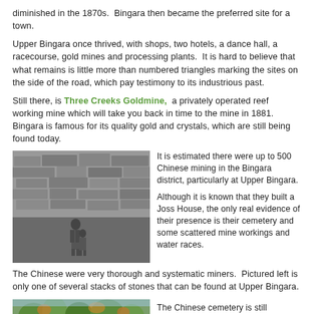diminished in the 1870s. Bingara then became the preferred site for a town.
Upper Bingara once thrived, with shops, two hotels, a dance hall, a racecourse, gold mines and processing plants. It is hard to believe that what remains is little more than numbered triangles marking the sites on the side of the road, which pay testimony to its industrious past.
Still there, is Three Creeks Goldmine, a privately operated reef working mine which will take you back in time to the mine in 1881. Bingara is famous for its quality gold and crystals, which are still being found today.
[Figure (photo): Black and white photograph of a person and a child standing in front of a large stone wall structure, likely a mine working at Upper Bingara.]
It is estimated there were up to 500 Chinese mining in the Bingara district, particularly at Upper Bingara.
Although it is known that they built a Joss House, the only real evidence of their presence is their cemetery and some scattered mine workings and water races.
The Chinese were very thorough and systematic miners. Pictured left is only one of several stacks of stones that can be found at Upper Bingara.
[Figure (photo): Colour photograph of trees, possibly showing the Chinese cemetery area at Upper Bingara.]
The Chinese cemetery is still enclosed by a post and rail fence.